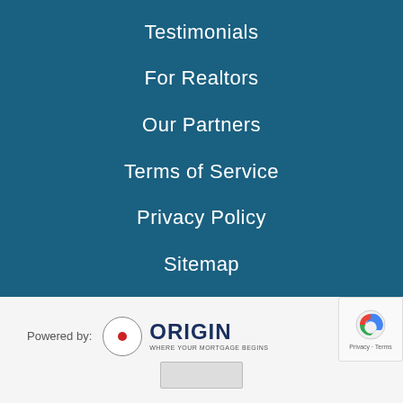Testimonials
For Realtors
Our Partners
Terms of Service
Privacy Policy
Sitemap
[Figure (logo): Origin mortgage logo: circle with red dot, text ORIGIN WHERE YOUR MORTGAGE BEGINS]
Powered by:
[Figure (logo): reCAPTCHA badge with Privacy and Terms links]
[Figure (logo): Partially visible second logo at bottom]